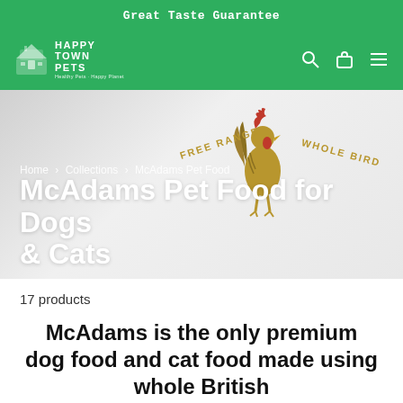Great Taste Guarantee
[Figure (logo): Happy Town Pets logo with house/pet icon, white text on green background, tagline: Healthy Pets - Happy Planet]
[Figure (logo): McAdams pet food brand logo - large serif logotype with golden rooster illustration, text arcs: FREE RANGE, WHOLE BIRD]
Home > Collections > McAdams Pet Food
McAdams Pet Food for Dogs & Cats
17 products
McAdams is the only premium dog food and cat food made using whole British